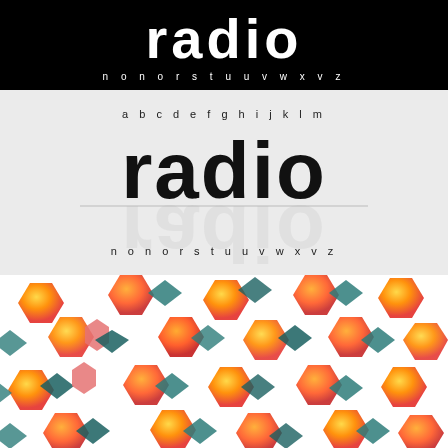[Figure (illustration): Black background section showing 'radio' in large white bold font with alphabet characters 'n o n o r s t u u v w x v z' in white below]
[Figure (illustration): Gray background section showing 'abcdefghijklm' in small dark letters, 'radio' in large bold black font with mirror reflection below, and 'n o n o r s t u u v w x v z' in dark letters]
[Figure (illustration): White background repeating geometric pattern with orange gradient hexagons and teal/dark green diamond/arrow shapes scattered across]